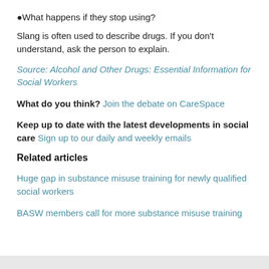What happens if they stop using?
Slang is often used to describe drugs. If you don't understand, ask the person to explain.
Source: Alcohol and Other Drugs: Essential Information for Social Workers
What do you think? Join the debate on CareSpace
Keep up to date with the latest developments in social care Sign up to our daily and weekly emails
Related articles
Huge gap in substance misuse training for newly qualified social workers
BASW members call for more substance misuse training